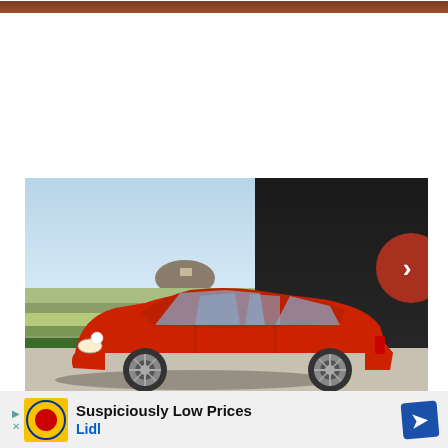[Figure (photo): Top decorative brown/wood-tone bar at the top of the page]
[Figure (photo): Red BMW 3 Series sedan parked outdoors in front of a dark building wall, with a scenic Mediterranean landscape and a hilltop in the background. A red navigation arrow circle is partially visible on the right edge.]
[Figure (other): Advertisement banner for Lidl showing 'Suspiciously Low Prices' text with Lidl logo and a blue direction-sign icon]